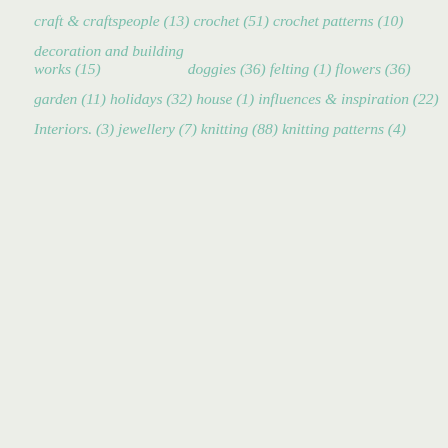craft & craftspeople (13)
crochet (51)
crochet patterns (10)
decoration and building works (15)
doggies (36)
felting (1)
flowers (36)
garden (11)
holidays (32)
house (1)
influences & inspiration (22)
Interiors. (3)
jewellery (7)
knitting (88)
knitting patterns (4)